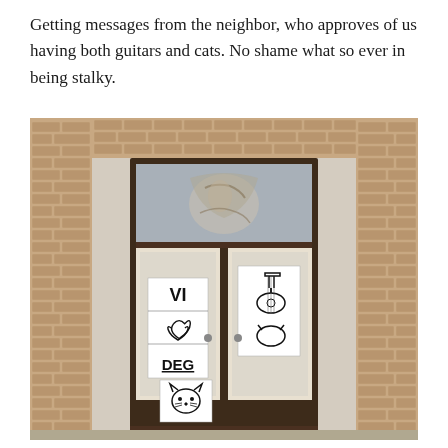Getting messages from the neighbor, who approves of us having both guitars and cats. No shame what so ever in being stalky.
[Figure (photo): Photograph of a brick building facade with a large wooden double door. The door has several hand-drawn signs in the windows: one sign reads 'VI ♥ DEG' (We love you), another shows drawings of a guitar and a cat face, and the transom window above shows a decorative relief or painting.]